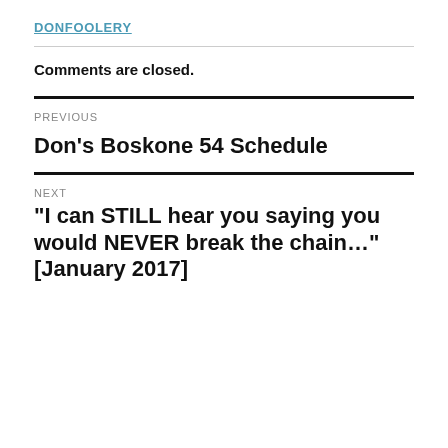DONFOOLERY
Comments are closed.
PREVIOUS
Don’s Boskone 54 Schedule
NEXT
“I can STILL hear you saying you would NEVER break the chain…” [January 2017]